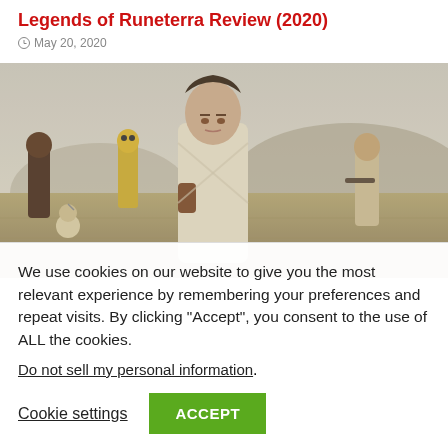Legends of Runeterra Review (2020)
May 20, 2020
[Figure (photo): Movie still showing Rey in white outfit in the foreground, with C-3PO, BB-8, Chewbacca, and Poe Dameron standing in a field in the background — Star Wars: The Rise of Skywalker promotional image]
We use cookies on our website to give you the most relevant experience by remembering your preferences and repeat visits. By clicking “Accept”, you consent to the use of ALL the cookies.
Do not sell my personal information.
Cookie settings  ACCEPT